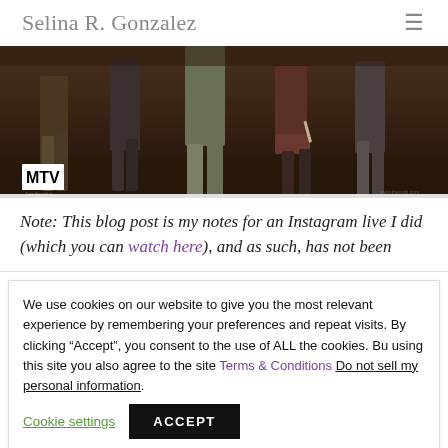Selina R. Gonzalez
[Figure (photo): Dark background image showing silhouettes/lower bodies of multiple people standing, one holding a knife. MTV logo visible in lower left corner.]
Note: This blog post is my notes for an Instagram live I did (which you can watch here), and as such, has not been
We use cookies on our website to give you the most relevant experience by remembering your preferences and repeat visits. By clicking “Accept”, you consent to the use of ALL the cookies. Bu using this site you also agree to the site Terms & Conditions Do not sell my personal information.
Cookie settings | ACCEPT